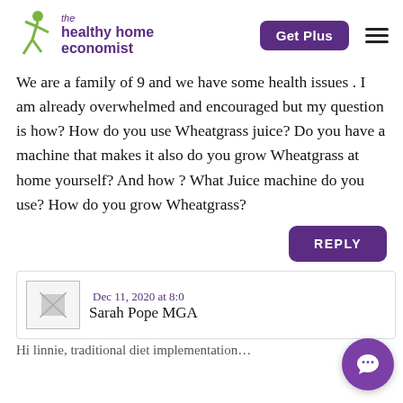the healthy home economist | Get Plus
We are a family of 9 and we have some health issues . I am already overwhelmed and encouraged but my question is how? How do you use Wheatgrass juice? Do you have a machine that makes it also do you grow Wheatgrass at home yourself? And how ? What Juice machine do you use? How do you grow Wheatgrass?
REPLY
Sarah Pope MGA Dec 11, 2020 at 8:0…
Hi linnie, traditional diet implementation…